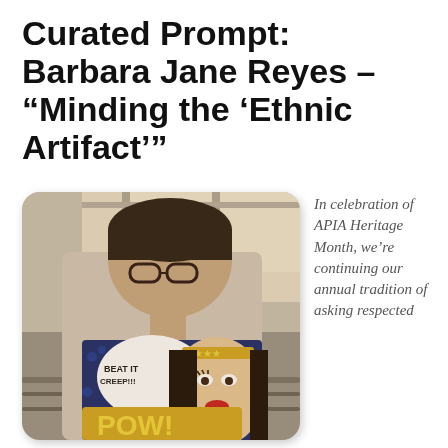Curated Prompt: Barbara Jane Reyes – “Minding the ‘Ethnic Artifact’”
[Figure (photo): A person wearing glasses and a Wonder Woman graphic t-shirt that reads 'BEAT IT CREEP!!!' standing at what appears to be a transit platform, photographed from below at an angle. The photo has rounded corners like a Polaroid-style print.]
In celebration of APIA Heritage Month, we’re continuing our annual tradition of asking respected